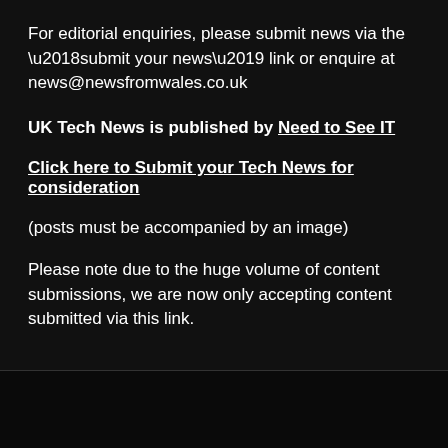For editorial enquiries, please submit news via the ‘submit your news’ link or enquire at news@newsfromwales.co.uk
UK Tech News is published by Need to See IT
Click here to Submit your Tech News for consideration
(posts must be accompanied by an image)
Please note due to the huge volume of content submissions, we are now only accepting content submitted via this link.